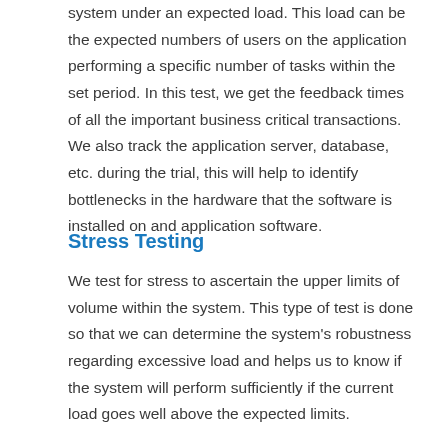system under an expected load. This load can be the expected numbers of users on the application performing a specific number of tasks within the set period. In this test, we get the feedback times of all the important business critical transactions. We also track the application server, database, etc. during the trial, this will help to identify bottlenecks in the hardware that the software is installed on and application software.
Stress Testing
We test for stress to ascertain the upper limits of volume within the system. This type of test is done so that we can determine the system's robustness regarding excessive load and helps us to know if the system will perform sufficiently if the current load goes well above the expected limits.